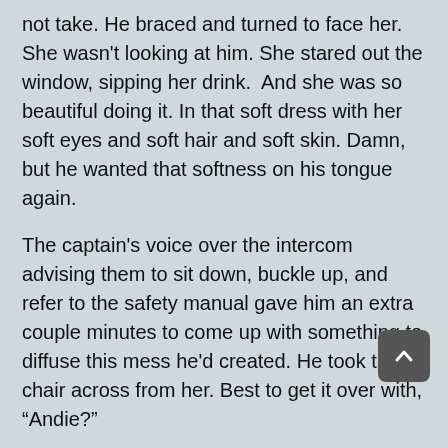not take. He braced and turned to face her. She wasn't looking at him. She stared out the window, sipping her drink.  And she was so beautiful doing it. In that soft dress with her soft eyes and soft hair and soft skin. Damn, but he wanted that softness on his tongue again.
The captain's voice over the intercom advising them to sit down, buckle up, and refer to the safety manual gave him an extra couple minutes to come up with something to diffuse this mess he'd created. He took the chair across from her. Best to get it over with, “Andie?”
“Yep?” She kept her eyes on the window.
At least she was talking. “I’m so sorry,”